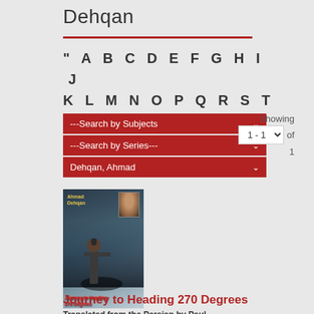Dehqan
" A B C D E F G H I J K L M N O P Q R S T W Y Z
---Search by Subjects--- | ---Search by Series--- | Dehqan, Ahmad
Showing 1 - 1 of 1
[Figure (photo): Book cover of 'Journey to Heading 270 Degrees' by Ahmad Dehqan, showing a soldier with a weapon and a small portrait photo in the upper right corner]
Journey to Heading 270 Degrees
Translated from the Persian by Paul